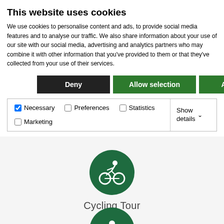This website uses cookies
We use cookies to personalise content and ads, to provide social media features and to analyse our traffic. We also share information about your use of our site with our social media, advertising and analytics partners who may combine it with other information that you've provided to them or that they've collected from your use of their services.
Deny
Allow selection
Allow all
|  |  |  |  |
| --- | --- | --- | --- |
| ☑ Necessary | ☐ Preferences | ☐ Statistics | Show details ∨ |
| ☐ Marketing |  |  |  |
[Figure (illustration): Green circular icon with white bicycle and rider symbol, labeled 'Cycling Tour']
Cycling Tour
[Figure (illustration): Partially visible green circular icon at bottom of page]